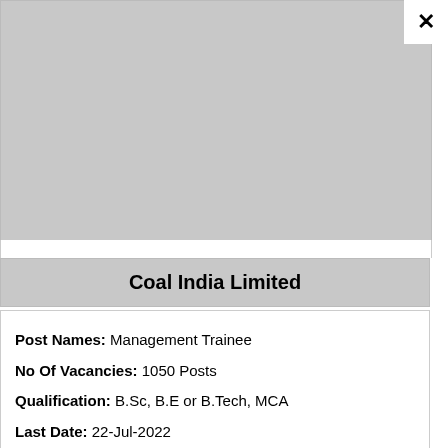[Figure (other): Gray advertisement/image placeholder area at the top of the page]
Coal India Limited
Post Names: Management Trainee
No Of Vacancies: 1050 Posts
Qualification: B.Sc, B.E or B.Tech, MCA
Last Date: 22-Jul-2022